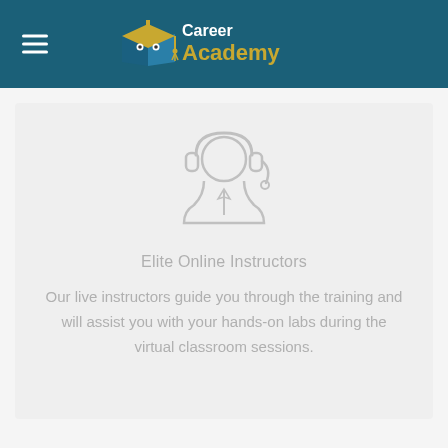[Figure (logo): Career Academy logo with graduation cap icon and text 'Career Academy' in blue and gold]
[Figure (illustration): Light grey icon of a person wearing a headset, representing an online instructor or support agent]
Elite Online Instructors
Our live instructors guide you through the training and will assist you with your hands-on labs during the virtual classroom sessions.